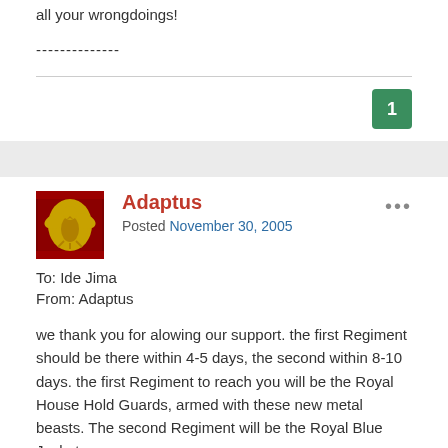all your wrongdoings!
--------------
1
Adaptus
Posted November 30, 2005
To: Ide Jima
From: Adaptus
we thank you for alowing our support. the first Regiment should be there within 4-5 days, the second within 8-10 days. the first Regiment to reach you will be the Royal House Hold Guards, armed with these new metal beasts. The second Regiment will be the Royal Blue Jackets, an